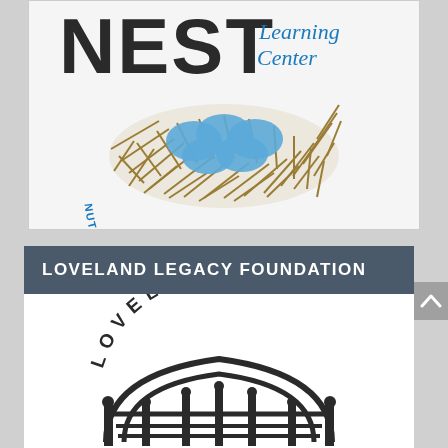[Figure (logo): NEST Community Learning Center logo with bird nest containing blue eggs and text 'NUTRITION · EDUCATION · SAFETY · TRANSFORMATION']
LOVELAND LEGACY FOUNDATION
[Figure (logo): Loveland Legacy Foundation logo with arched bridge/gateway and curved text 'LOVELAND' above]